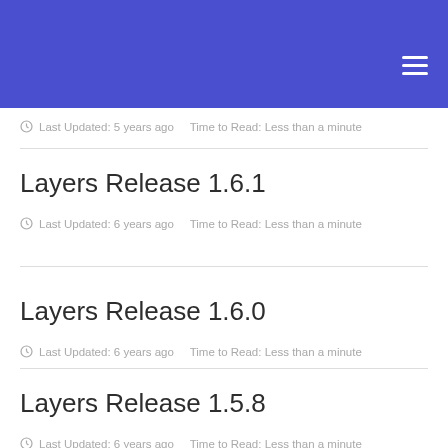Last Updated: 5 years ago    Time to Read: Less than a minute
Layers Release 1.6.1
Last Updated: 6 years ago    Time to Read: Less than a minute
Layers Release 1.6.0
Last Updated: 6 years ago    Time to Read: Less than a minute
Layers Release 1.5.8
Last Updated: 6 years ago    Time to Read: Less than a minute